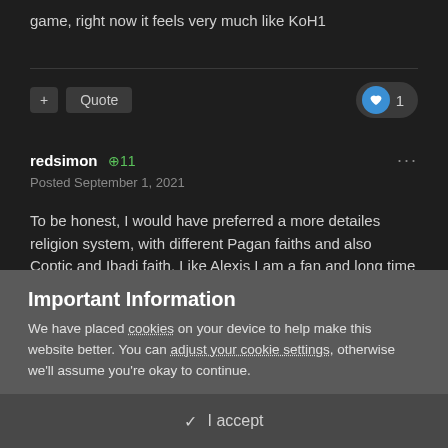game, right now it feels very much like KoH1
redsimon +11
Posted September 1, 2021
To be honest, I would have preferred a more detailes religion system, with different Pagan faiths and also Coptic and Ibadi faith. Like Alexis I am a fan and long time player of CKII. But I understand that KoH puts less
Important Information
We have placed cookies on your device to help make this website better. You can adjust your cookie settings, otherwise we'll assume you're okay to continue.
✓  I accept